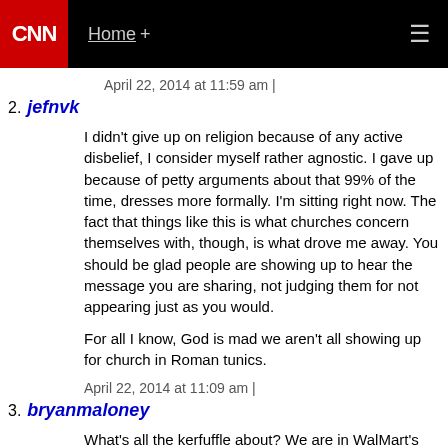CNN | Home +
April 22, 2014 at 11:59 am |
2. jefnvk
I didn't give up on religion because of any active disbelief, I consider myself rather agnostic. I gave up because of petty arguments about that 99% of the time, dresses more formally. I'm sitting in jeans right now. The fact that things like this is what churches concern themselves with, though, is what drove me away. You should be glad people are showing up to hear the message you are sharing, not judging them for not appearing just as you would.

For all I know, God is mad we aren't all showing up for church in Roman tunics.
April 22, 2014 at 11:09 am |
3. bryanmaloney
What's all the kerfuffle about? We are in WalMart's world, not WalMart. The website "People of WalMart" is a fashion...